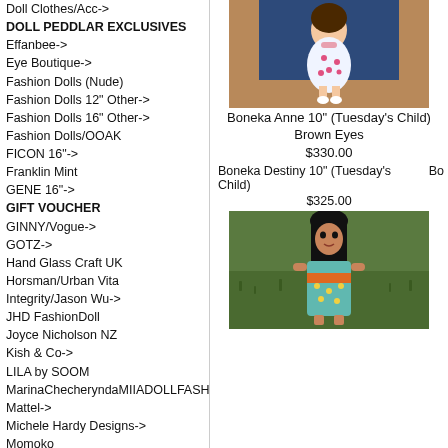Doll Clothes/Acc->
DOLL PEDDLAR EXCLUSIVES
Effanbee->
Eye Boutique->
Fashion Dolls (Nude)
Fashion Dolls 12" Other->
Fashion Dolls 16" Other->
Fashion Dolls/OOAK
FICON 16"->
Franklin Mint
GENE 16"->
GIFT VOUCHER
GINNY/Vogue->
GOTZ->
Hand Glass Craft UK
Horsman/Urban Vita
Integrity/Jason Wu->
JHD FashionDoll
Joyce Nicholson NZ
Kish & Co->
LILA by SOOM
MarinaChecheryndaMIIADOLLFASHION
Mattel->
Michele Hardy Designs->
Momoko
Ornaments->
Phyn & Aero->
Plush Animals->
Porcelain Dolls
Pullip/Pang-ju/J-Doll->
Re-Ment/Orcara/Smiski
Ruby Red Galleria->
SK Couture->
Tonner Doll Co.->
Toys & Other Collectibles->
Vintage Dolls &/Jewelry->
Wig Boutique->
Wilde Imagination, Inc.->
Zwergnase->
[Figure (photo): Boneka Anne 10-inch Tuesday's Child doll with brown eyes, wearing floral dress, seated on wooden surface]
Boneka Anne 10" (Tuesday's Child) Brown Eyes
$330.00
Boneka Destiny 10" (Tuesday's Child)
$325.00
[Figure (photo): Boneka doll with long black hair wearing floral dress, photographed outdoors on grass]
Manufacturers